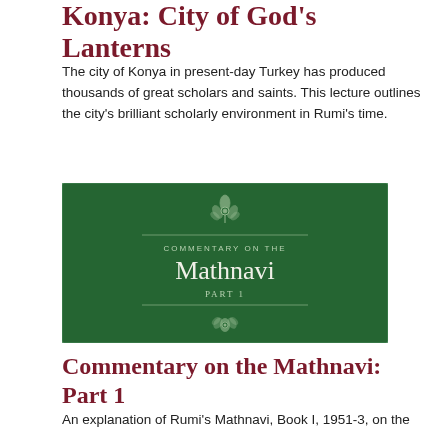Konya: City of God's Lanterns
The city of Konya in present-day Turkey has produced thousands of great scholars and saints. This lecture outlines the city's brilliant scholarly environment in Rumi's time.
[Figure (illustration): Dark green decorative book cover image with ornamental floral patterns, a decorative symbol at top and bottom, a horizontal line, and the text 'COMMENTARY ON THE Mathnavi PART 1' centered in white/light text.]
Commentary on the Mathnavi: Part 1
An explanation of Rumi's Mathnavi, Book I, 1951-3, on the